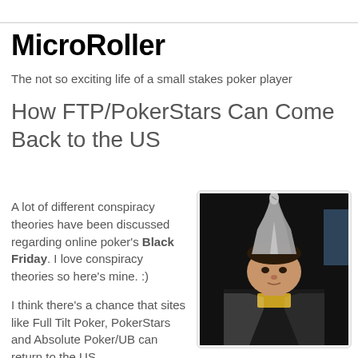MicroRoller
The not so exciting life of a small stakes poker player
How FTP/PokerStars Can Come Back to the US
A lot of different conspiracy theories have been discussed regarding online poker's Black Friday. I love conspiracy theories so here's mine. :)
I think there's a chance that sites like Full Tilt Poker, PokerStars and Absolute Poker/UB can return to the US
[Figure (photo): A young man wearing a tinfoil hat shaped like a tall twisted crown, seated at what appears to be a poker table, looking downward with a serious expression.]